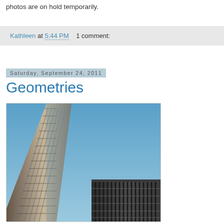photos are on hold temporarily.
Kathleen at 5:44 PM    1 comment:
Saturday, September 24, 2011
Geometries
[Figure (photo): Looking up at tall glass and concrete skyscrapers against a blue sky, geometric architectural perspective from below.]